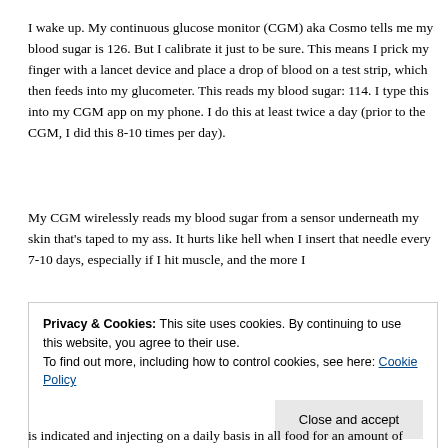I wake up. My continuous glucose monitor (CGM) aka Cosmo tells me my blood sugar is 126. But I calibrate it just to be sure. This means I prick my finger with a lancet device and place a drop of blood on a test strip, which then feeds into my glucometer. This reads my blood sugar: 114. I type this into my CGM app on my phone. I do this at least twice a day (prior to the CGM, I did this 8-10 times per day).
My CGM wirelessly reads my blood sugar from a sensor underneath my skin that's taped to my ass. It hurts like hell when I insert that needle every 7-10 days, especially if I hit muscle, and the more I
Privacy & Cookies: This site uses cookies. By continuing to use this website, you agree to their use.
To find out more, including how to control cookies, see here: Cookie Policy
Close and accept
is indicated and injecting on a daily basis in all food for an amount of